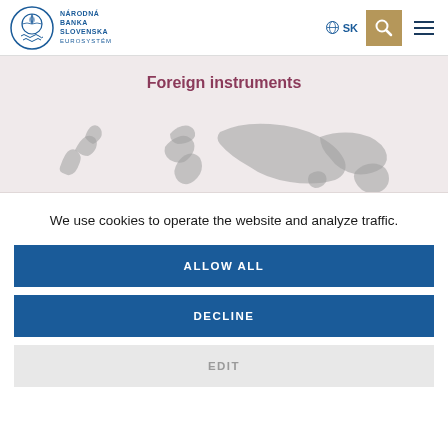NÁRODNÁ BANKA SLOVENSKA EUROSYSTÉM
Foreign instruments
[Figure (illustration): Greyscale silhouette world map shown as background of the hero banner]
We use cookies to operate the website and analyze traffic.
ALLOW ALL
DECLINE
EDIT